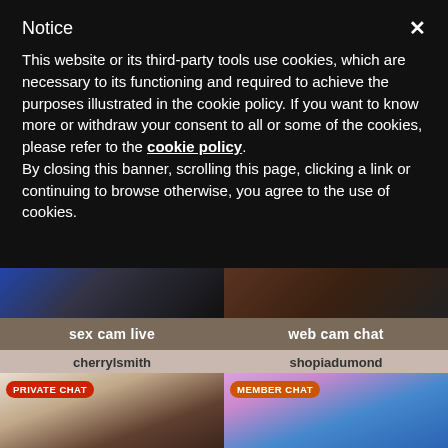Notice
This website or its third-party tools use cookies, which are necessary to its functioning and required to achieve the purposes illustrated in the cookie policy. If you want to know more or withdraw your consent to all or some of the cookies, please refer to the cookie policy.
By closing this banner, scrolling this page, clicking a link or continuing to browse otherwise, you agree to the use of cookies.
[Figure (screenshot): Two webcam thumbnail images showing partial views of performers]
sex cam live
web cam chat
cherrylsmith
shopiadumond
[Figure (photo): PRIVATE CHAT - thumbnail of performer cherrylsmith]
[Figure (photo): MEMBER CHAT - thumbnail of performer shopiadumond]